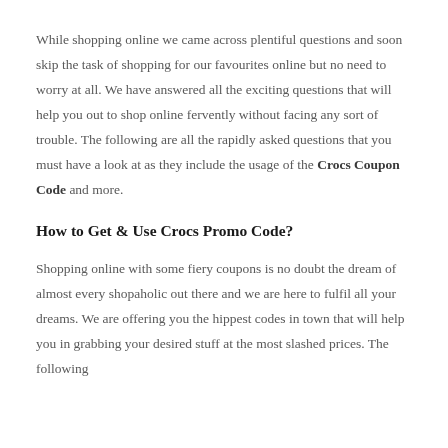While shopping online we came across plentiful questions and soon skip the task of shopping for our favourites online but no need to worry at all. We have answered all the exciting questions that will help you out to shop online fervently without facing any sort of trouble. The following are all the rapidly asked questions that you must have a look at as they include the usage of the Crocs Coupon Code and more.
How to Get & Use Crocs Promo Code?
Shopping online with some fiery coupons is no doubt the dream of almost every shopaholic out there and we are here to fulfil all your dreams. We are offering you the hippest codes in town that will help you in grabbing your desired stuff at the most slashed prices. The following